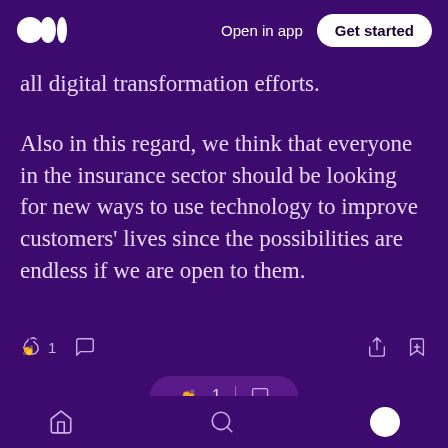Open in app  Get started
all digital transformation efforts.
Also in this regard, we think that everyone in the insurance sector should be looking for new ways to use technology to improve customers' lives since the possibilities are endless if we are open to them.